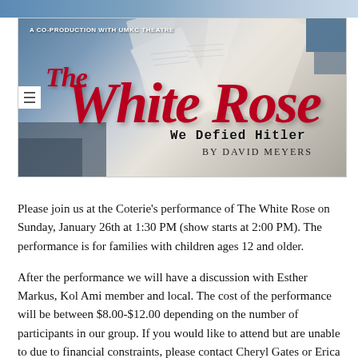[Figure (illustration): The White Rose theatrical banner — 'A Co-Production with UMKC Theatre' header text, large red italic title 'The White Rose', subtitle in typewriter font 'We Defied Hitler', byline 'By David Meyers', background of scattered papers.]
Please join us at the Coterie's performance of The White Rose on Sunday, January 26th at 1:30 PM (show starts at 2:00 PM). The performance is for families with children ages 12 and older.
After the performance we will have a discussion with Esther Markus, Kol Ami member and local. The cost of the performance will be between $8.00-$12.00 depending on the number of participants in our group. If you would like to attend but are unable to due to financial constraints, please contact Cheryl Gates or Erica